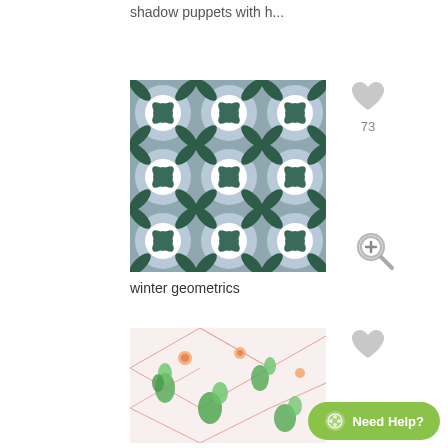shadow puppets with h...
[Figure (illustration): Geometric repeating pattern with dark green leaves and blue-grey circular motifs on light background]
73
winter geometrics
[Figure (illustration): Watercolor cactus and succulent pattern with geometric pink triangle lines on white background]
Need Help?